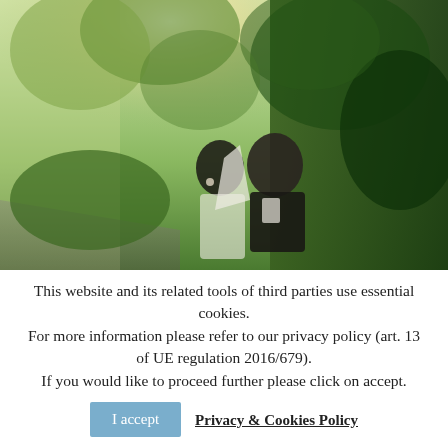[Figure (photo): Outdoor wedding photo of a bride and groom facing each other, surrounded by lush green ivy-covered walls and trees, with soft warm sunlight in the background.]
This website and its related tools of third parties use essential cookies. For more information please refer to our privacy policy (art. 13 of UE regulation 2016/679). If you would like to proceed further please click on accept.
I accept
Privacy & Cookies Policy